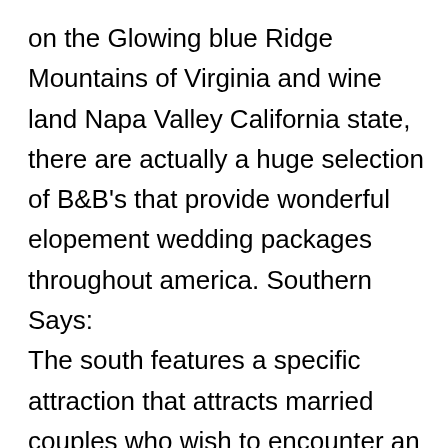on the Glowing blue Ridge Mountains of Virginia and wine land Napa Valley California state, there are actually a huge selection of B&B's that provide wonderful elopement wedding packages throughout america. Southern Says: The south features a specific attraction that attracts married couples who wish to encounter an intimate wedding ceremony with a little bit of the southern part of elegance and welcome. Among the most preferred the southern part of status B&B elopement spots are in New Orleans, Savannah,and Virginia. Magnolia